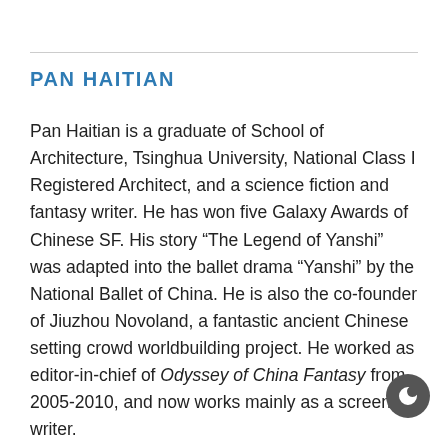PAN HAITIAN
Pan Haitian is a graduate of School of Architecture, Tsinghua University, National Class I Registered Architect, and a science fiction and fantasy writer. He has won five Galaxy Awards of Chinese SF. His story “The Legend of Yanshi” was adapted into the ballet drama “Yanshi” by the National Ballet of China. He is also the co-founder of Jiuzhou Novoland, a fantastic ancient Chinese setting crowd worldbuilding project. He worked as editor-in-chief of Odyssey of China Fantasy from 2005-2010, and now works mainly as a screen writer.